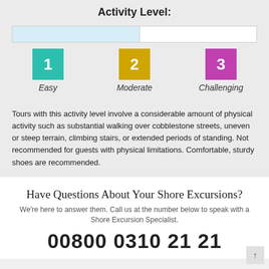Activity Level:
[Figure (infographic): Activity level progress bar showing level 2 (Moderate) selected, with three colored numbered boxes below: 1 Easy (teal), 2 Moderate (yellow/gold), 3 Challenging (purple), with italic labels underneath each.]
Tours with this activity level involve a considerable amount of physical activity such as substantial walking over cobblestone streets, uneven or steep terrain, climbing stairs, or extended periods of standing. Not recommended for guests with physical limitations. Comfortable, sturdy shoes are recommended.
Have Questions About Your Shore Excursions?
We're here to answer them. Call us at the number below to speak with a Shore Excursion Specialist.
00800 0310 21 21